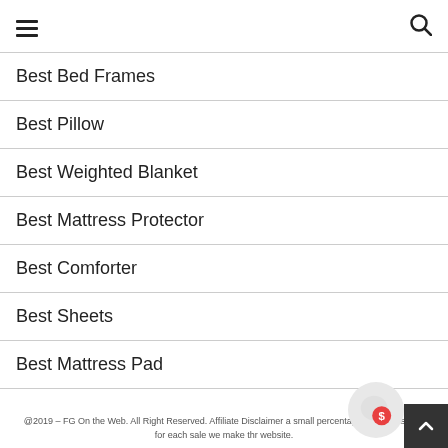Navigation menu with hamburger icon and search icon
Best Bed Frames
Best Pillow
Best Weighted Blanket
Best Mattress Protector
Best Comforter
Best Sheets
Best Mattress Pad
@2019 - FG On the Web. All Right Reserved. Affiliate Disclaimer a small percentage of commission, for each sale we make thr website.